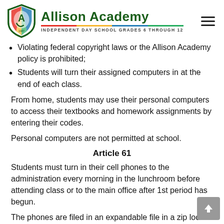Allison Academy — INDEPENDENT DAY SCHOOL GRADES 6 THROUGH 12
Violating federal copyright laws or the Allison Academy policy is prohibited;
Students will turn their assigned computers in at the end of each class.
From home, students may use their personal computers to access their textbooks and homework assignments by entering their codes.
Personal computers are not permitted at school.
Article 61
Students must turn in their cell phones to the administration every morning in the lunchroom before attending class or to the main office after 1st period has begun.
The phones are filed in an expandable file in a zip lock